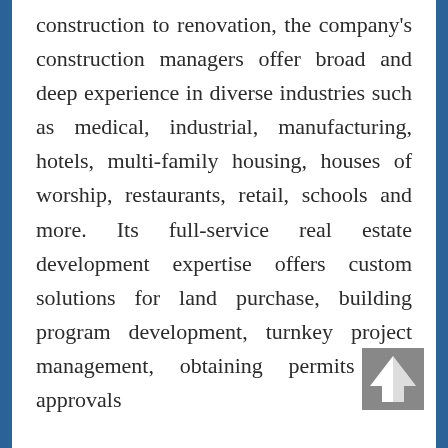construction to renovation, the company's construction managers offer broad and deep experience in diverse industries such as medical, industrial, manufacturing, hotels, multi-family housing, houses of worship, restaurants, retail, schools and more. Its full-service real estate development expertise offers custom solutions for land purchase, building program development, turnkey project management, obtaining permits and approvals
[Figure (other): An upward-pointing arrow icon in gray and white, positioned in the bottom-right corner of the page.]